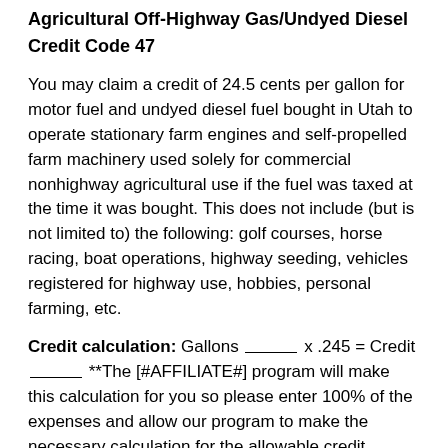Agricultural Off-Highway Gas/Undyed Diesel Credit Code 47
You may claim a credit of 24.5 cents per gallon for motor fuel and undyed diesel fuel bought in Utah to operate stationary farm engines and self-propelled farm machinery used solely for commercial nonhighway agricultural use if the fuel was taxed at the time it was bought. This does not include (but is not limited to) the following: golf courses, horse racing, boat operations, highway seeding, vehicles registered for highway use, hobbies, personal farming, etc.
Credit calculation: Gallons ______ x .245 = Credit ________ **The [#AFFILIATE#] program will make this calculation for you so please enter 100% of the expenses and allow our program to make the necessary calculation for the allowable credit.
There is no form for this credit. Keep all related documents with your records.